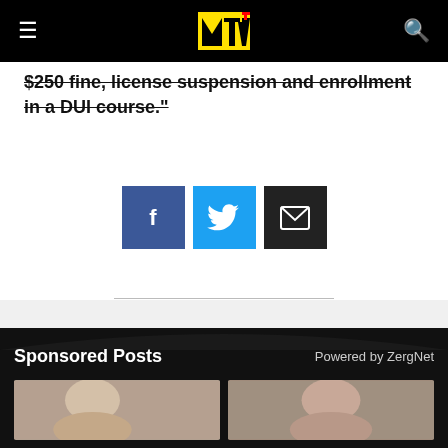MTV logo navigation bar
$250 fine, license suspension and enrollment in a DUI course."
[Figure (other): Social share buttons: Facebook (blue), Twitter (light blue), Email (dark/black)]
Sponsored Posts
Powered by ZergNet
[Figure (photo): Two thumbnail images in the sponsored posts section at the bottom]